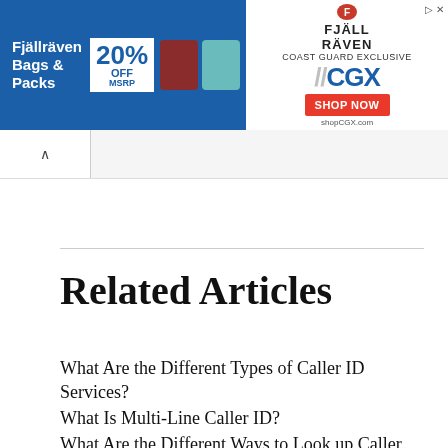[Figure (photo): Fjällräven advertisement banner: blue background with '20% OFF MSRP' offer, backpack images, CGX logo with 'ALL BRANCHES OF MILITARY, ALL DHS EMPLOYEES' text, and a red SHOP NOW button. ShopCGX.com URL shown.]
Related Articles
What Are the Different Types of Caller ID Services?
What Is Multi-Line Caller ID?
What Are the Different Ways to Look up Caller